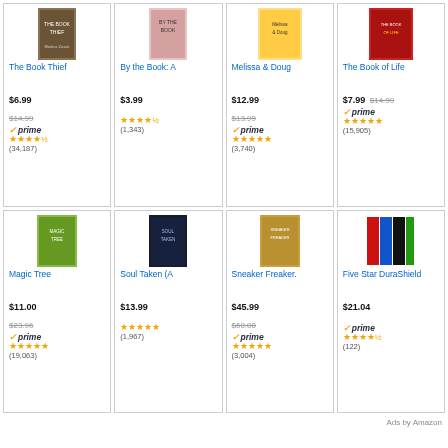[Figure (other): Product grid of 8 Amazon ad listing cards with book/product covers, titles, prices, prime badges, star ratings, and review counts]
The Book Thief — $6.99, was $14.99, Prime, ★★★★½ (34,187)
By the Book: A — $3.99, ★★★★½ (1,343)
Melissa & Doug — $12.99, was $13.99, Prime, ★★★★★ (3,740)
The Book of Life — $7.99, was $14.99, Prime, ★★★★★ (15,905)
Magic Tree — $11.00, was $23.96, Prime, ★★★★★ (19,063)
Soul Taken (A — $13.99, ★★★★★ (1,967)
Sneaker Freaker. — $45.99, was $60.00, Prime, ★★★★★ (3,004)
Five Star DuraShield — $21.04, Prime, ★★★★½ (122)
Ads by Amazon